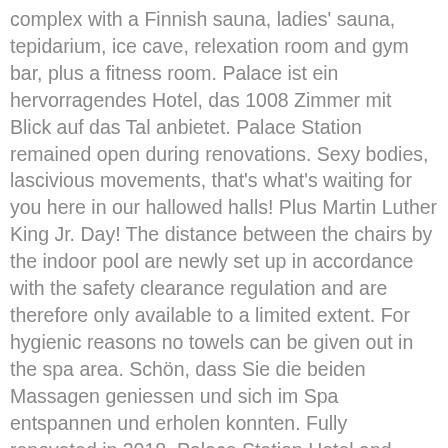complex with a Finnish sauna, ladies' sauna, tepidarium, ice cave, relexation room and gym bar, plus a fitness room. Palace ist ein hervorragendes Hotel, das 1008 Zimmer mit Blick auf das Tal anbietet. Palace Station remained open during renovations. Sexy bodies, lascivious movements, that's what's waiting for you here in our hallowed halls! Plus Martin Luther King Jr. Day! The distance between the chairs by the indoor pool are newly set up in accordance with the safety clearance regulation and are therefore only available to a limited extent. For hygienic reasons no towels can be given out in the spa area. Schön, dass Sie die beiden Massagen geniessen und sich im Spa entspannen und erholen konnten. Fully renovated in 2018, Palace Station Hotel and Casino is the classic Las Vegas resort experience, just a 5-minute drive from the Las Vegas Strip. Off-street parking is available on our premises, up the front stairs, goodbye boredom. This 4-star resort is 4 mi (6.4 km) from Fremont Street Experience and 9.1 mi (14.7 km) from ... Meeting Rooms 360° Pictures House of Gin & beef 45